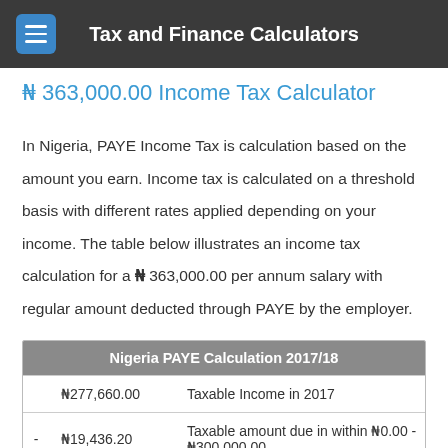Tax and Finance Calculators
₦ 363,000.00 Income Tax Calculator
In Nigeria, PAYE Income Tax is calculation based on the amount you earn. Income tax is calculated on a threshold basis with different rates applied depending on your income. The table below illustrates an income tax calculation for a ₦ 363,000.00 per annum salary with regular amount deducted through PAYE by the employer.
| Nigeria PAYE Calculation 2017/18 |
| --- |
| ₦277,660.00 | Taxable Income in 2017 |
| - | ₦19,436.20 | Taxable amount due in within ₦0.00 - ₦300,000.00 |